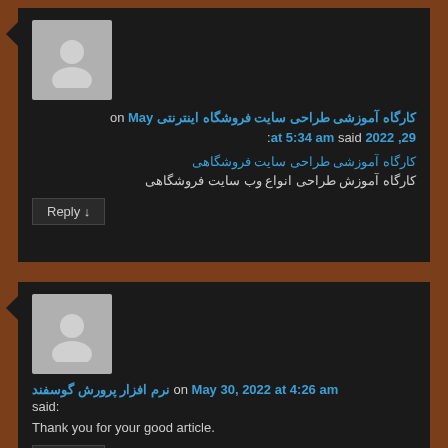[Figure (photo): Default avatar placeholder (grey silhouette on grey background) for first comment]
کارگاه آموزشی طراحی سایت فروشگاه اینترنتی on May 29, 2022 at 5:34 am said:
کارگاه آموزشی طراحی سایت فروشگاهی
کارگاه آموزش طراحی انواع وب سایت فروشگاهی
Reply ↓
[Figure (photo): Default avatar placeholder (grey silhouette on grey background) for second comment]
نرم افزار پرورش گوسفند on May 30, 2022 at 4:26 am said:
Thank you for your good article.
Reply ↓